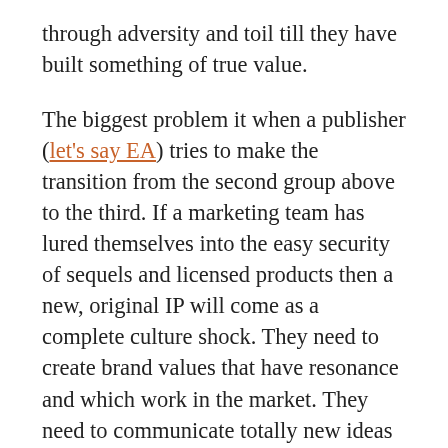through adversity and toil till they have built something of true value.
The biggest problem it when a publisher (let's say EA) tries to make the transition from the second group above to the third. If a marketing team has lured themselves into the easy security of sequels and licensed products then a new, original IP will come as a complete culture shock. They need to create brand values that have resonance and which work in the market. They need to communicate totally new ideas and concepts to a global audience. The challenge is vast. But then